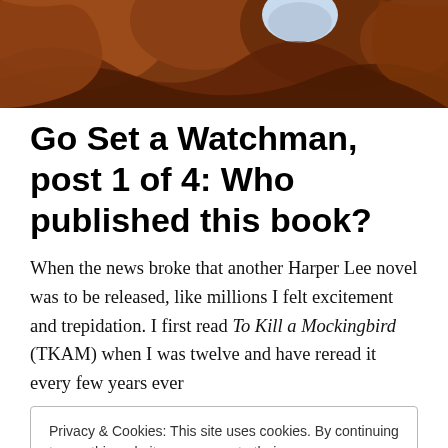[Figure (photo): Reddish-brown rock arch or canyon landscape photo used as a decorative banner at the top of the page.]
Go Set a Watchman, post 1 of 4: Who published this book?
When the news broke that another Harper Lee novel was to be released, like millions I felt excitement and trepidation. I first read To Kill a Mockingbird (TKAM) when I was twelve and have reread it every few years ever
Privacy & Cookies: This site uses cookies. By continuing to use this website, you agree to their use.
To find out more, including how to control cookies, see here: Cookie Policy
question of “What the hell happened to Atticus in the next